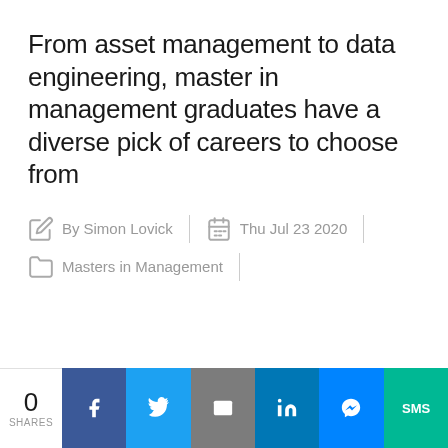From asset management to data engineering, master in management graduates have a diverse pick of careers to choose from
By Simon Lovick | Thu Jul 23 2020 | Masters in Management
0 SHARES | Facebook | Twitter | Email | LinkedIn | Messenger | SMS